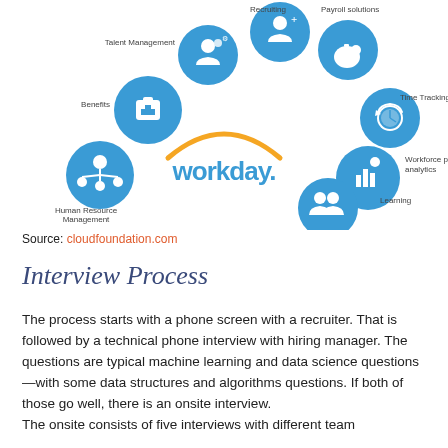[Figure (infographic): Workday HR platform infographic showing a circular arc of blue icons for: Talent Management, Recruiting, Payroll solutions, Time Tracking, Workforce planning and analytics, Learning, Human Resource Management, Benefits — arranged around the Workday logo in the center with an orange arc.]
Source: cloudfoundation.com
Interview Process
The process starts with a phone screen with a recruiter. That is followed by a technical phone interview with hiring manager. The questions are typical machine learning and data science questions—with some data structures and algorithms questions. If both of those go well, there is an onsite interview.
The onsite consists of five interviews with different team